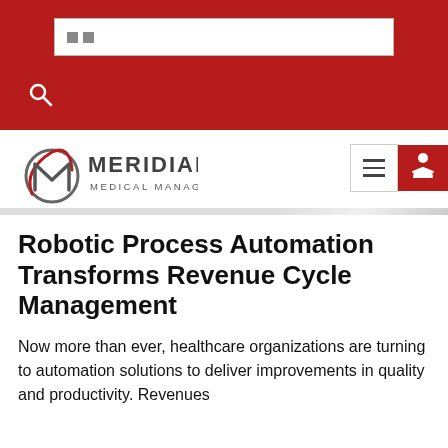Meridian Medical Management — navigation header with search box and search icon
[Figure (logo): Meridian Medical Management logo — stylized M in grey circle with red accent, bold grey MERIDIAN text, and smaller MEDICAL MANAGEMENT text below]
Robotic Process Automation Transforms Revenue Cycle Management
Now more than ever, healthcare organizations are turning to automation solutions to deliver improvements in quality and productivity. Revenues